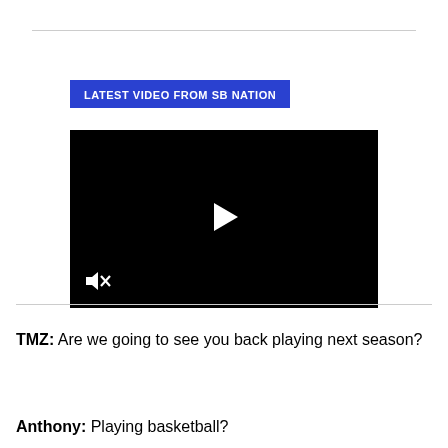[Figure (screenshot): Blue banner label reading 'LATEST VIDEO FROM SB NATION' above a black video player with a white play button in the center and a mute icon in the bottom left corner.]
TMZ: Are we going to see you back playing next season?
Anthony: Playing basketball?